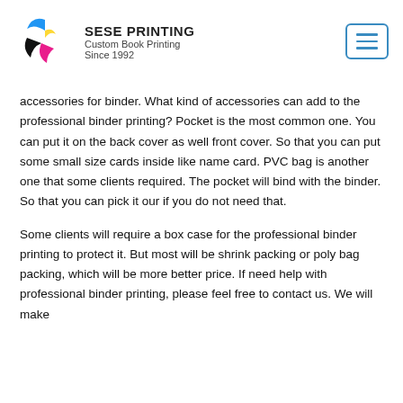SESE PRINTING
Custom Book Printing
Since 1992
accessories for binder. What kind of accessories can add to the professional binder printing? Pocket is the most common one. You can put it on the back cover as well front cover. So that you can put some small size cards inside like name card. PVC bag is another one that some clients required. The pocket will bind with the binder. So that you can pick it our if you do not need that.
Some clients will require a box case for the professional binder printing to protect it. But most will be shrink packing or poly bag packing, which will be more better price. If need help with professional binder printing, please feel free to contact us. We will make